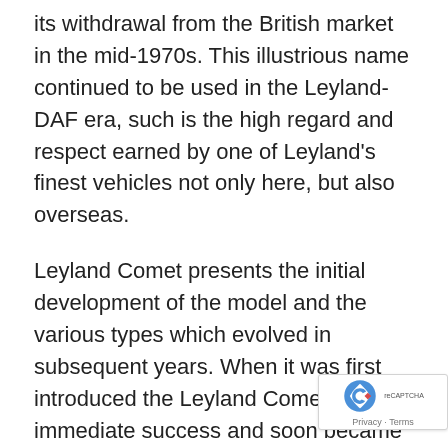its withdrawal from the British market in the mid-1970s. This illustrious name continued to be used in the Leyland-DAF era, such is the high regard and respect earned by one of Leyland's finest vehicles not only here, but also overseas.
Leyland Comet presents the initial development of the model and the various types which evolved in subsequent years. When it was first introduced the Leyland Comet was an immediate success and soon became the market leader in the high quality medium weight lorry sector. In the 30 years of production history described in these pages, the Comet was only